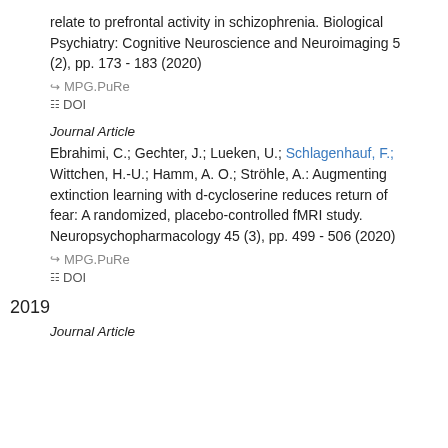relate to prefrontal activity in schizophrenia. Biological Psychiatry: Cognitive Neuroscience and Neuroimaging 5 (2), pp. 173 - 183 (2020)
⊘ MPG.PuRe
DOI
Journal Article
Ebrahimi, C.; Gechter, J.; Lueken, U.; Schlagenhauf, F.; Wittchen, H.-U.; Hamm, A. O.; Ströhle, A.: Augmenting extinction learning with d-cycloserine reduces return of fear: A randomized, placebo-controlled fMRI study. Neuropsychopharmacology 45 (3), pp. 499 - 506 (2020)
⊘ MPG.PuRe
DOI
2019
Journal Article